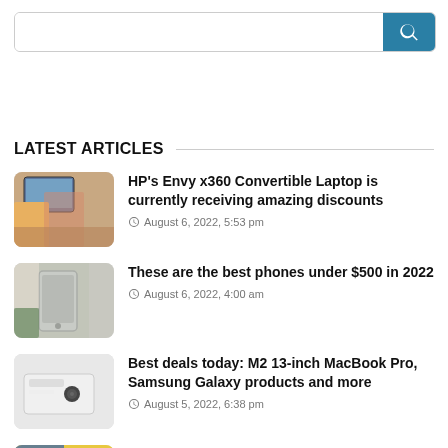Search bar
LATEST ARTICLES
HP’s Envy x360 Convertible Laptop is currently receiving amazing discounts
August 6, 2022, 5:53 pm
These are the best phones under $500 in 2022
August 6, 2022, 4:00 am
Best deals today: M2 13-inch MacBook Pro, Samsung Galaxy products and more
August 5, 2022, 6:38 pm
Best Buy’s anniversary sales event will